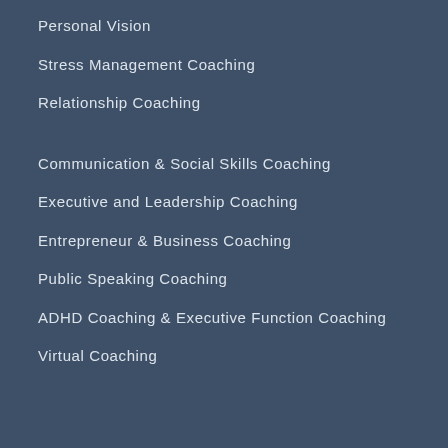Personal Vision
Stress Management Coaching
Relationship Coaching
Communication & Social Skills Coaching
Executive and Leadership Coaching
Entrepreneur & Business Coaching
Public Speaking Coaching
ADHD Coaching & Executive Function Coaching
Virtual Coaching